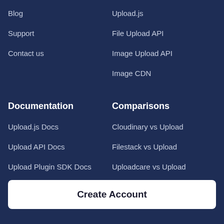Blog
Upload.js
Support
File Upload API
Contact us
Image Upload API
Image CDN
Documentation
Comparisons
Upload.js Docs
Cloudinary vs Upload
Upload API Docs
Filestack vs Upload
Upload Plugin SDK Docs
Uploadcare vs Upload
Create Account